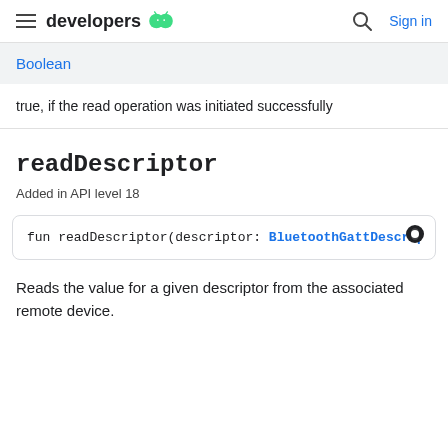developers
| Boolean |
| --- |
true, if the read operation was initiated successfully
readDescriptor
Added in API level 18
fun readDescriptor(descriptor: BluetoothGattDescript
Reads the value for a given descriptor from the associated remote device.